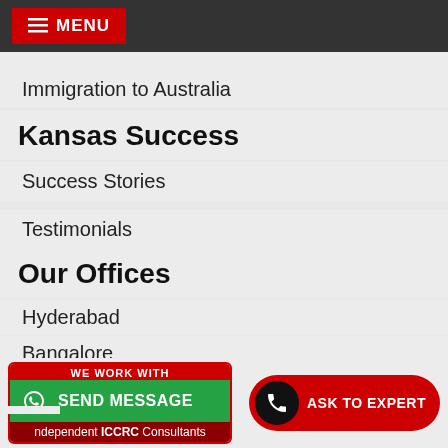MENU
Immigration to Australia
Kansas Success
Success Stories
Testimonials
Our Offices
Hyderabad
Bangalore
Chennai
Vizag
Thane
[Figure (screenshot): WhatsApp Send Message button with text: WE WORK WITH, SEND MESSAGE, Independent ICCRC Consultants]
[Figure (screenshot): ASK TO EXPERT button with phone icon]